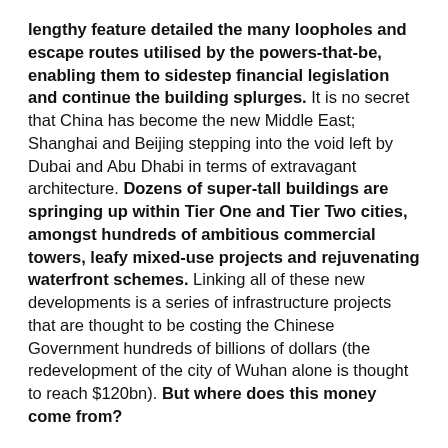lengthy feature detailed the many loopholes and escape routes utilised by the powers-that-be, enabling them to sidestep financial legislation and continue the building splurges. It is no secret that China has become the new Middle East; Shanghai and Beijing stepping into the void left by Dubai and Abu Dhabi in terms of extravagant architecture. Dozens of super-tall buildings are springing up within Tier One and Tier Two cities, amongst hundreds of ambitious commercial towers, leafy mixed-use projects and rejuvenating waterfront schemes. Linking all of these new developments is a series of infrastructure projects that are thought to be costing the Chinese Government hundreds of billions of dollars (the redevelopment of the city of Wuhan alone is thought to reach $120bn). But where does this money come from?
The New York Times posed that financing for large-scale infrastructure projects has been